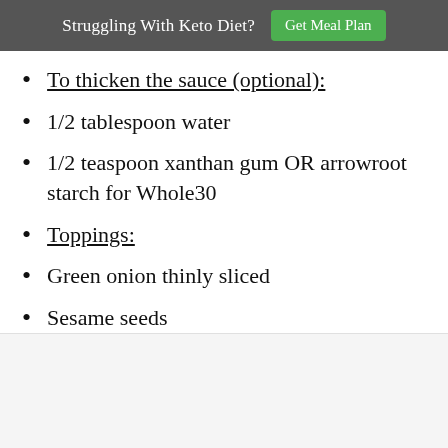Struggling With Keto Diet? Get Meal Plan
To thicken the sauce (optional):
1/2 tablespoon water
1/2 teaspoon xanthan gum OR arrowroot starch for Whole30
Toppings:
Green onion thinly sliced
Sesame seeds